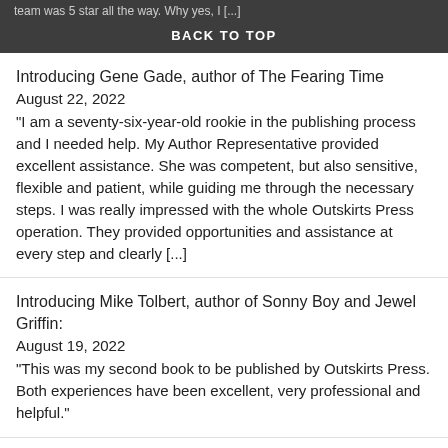team was 5 star all the way. Why yes, I [...]
BACK TO TOP
Introducing Gene Gade, author of The Fearing Time
August 22, 2022
"I am a seventy-six-year-old rookie in the publishing process and I needed help. My Author Representative provided excellent assistance. She was competent, but also sensitive, flexible and patient, while guiding me through the necessary steps. I was really impressed with the whole Outskirts Press operation. They provided opportunities and assistance at every step and clearly [...]
Introducing Mike Tolbert, author of Sonny Boy and Jewel Griffin:
August 19, 2022
"This was my second book to be published by Outskirts Press. Both experiences have been excellent, very professional and helpful."